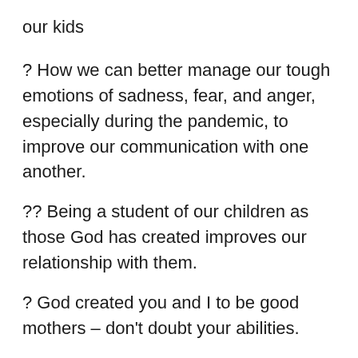our kids
? How we can better manage our tough emotions of sadness, fear, and anger, especially during the pandemic, to improve our communication with one another.
?? Being a student of our children as those God has created improves our relationship with them.
? God created you and I to be good mothers – don't doubt your abilities.
Join us by listening via the link below or wherever you love to listen to your podcasts!